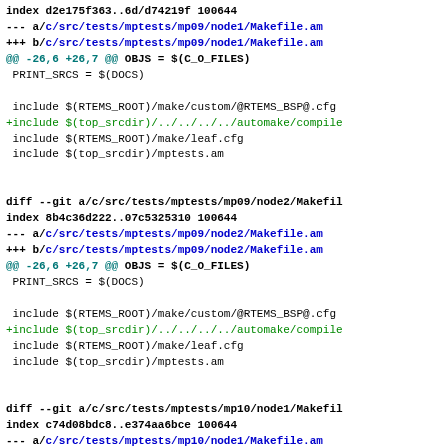index d2e175f363..6d/d74219f 100644
--- a/c/src/tests/mptests/mp09/node1/Makefile.am
+++ b/c/src/tests/mptests/mp09/node1/Makefile.am
@@ -26,6 +26,7 @@ OBJS = $(C_O_FILES)
 PRINT_SRCS = $(DOCS)

 include $(RTEMS_ROOT)/make/custom/@RTEMS_BSP@.cfg
+include $(top_srcdir)/../../../../automake/compile
 include $(RTEMS_ROOT)/make/leaf.cfg
 include $(top_srcdir)/mptests.am
diff --git a/c/src/tests/mptests/mp09/node2/Makefile.am
index 8b4c36d222..07c5325310 100644
--- a/c/src/tests/mptests/mp09/node2/Makefile.am
+++ b/c/src/tests/mptests/mp09/node2/Makefile.am
@@ -26,6 +26,7 @@ OBJS = $(C_O_FILES)
 PRINT_SRCS = $(DOCS)

 include $(RTEMS_ROOT)/make/custom/@RTEMS_BSP@.cfg
+include $(top_srcdir)/../../../../automake/compile
 include $(RTEMS_ROOT)/make/leaf.cfg
 include $(top_srcdir)/mptests.am
diff --git a/c/src/tests/mptests/mp10/node1/Makefile.am
index c74d08bdc8..e374aa6bce 100644
--- a/c/src/tests/mptests/mp10/node1/Makefile.am
+++ b/c/src/tests/mptests/mp10/node1/Makefile.am
@@ -26,6 +26,7 @@ OBJS = $(C_O_FILES)
 PRINT_SRCS = $(DOCS)